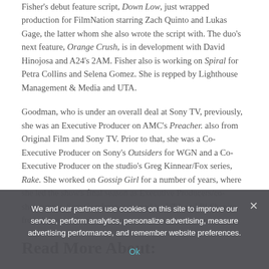Fisher's debut feature script, Down Low, just wrapped production for FilmNation starring Zach Quinto and Lukas Gage, the latter whom she also wrote the script with. The duo's next feature, Orange Crush, is in development with David Hinojosa and A24's 2AM. Fisher also is working on Spiral for Petra Collins and Selena Gomez. She is repped by Lighthouse Management & Media and UTA.
Goodman, who is under an overall deal at Sony TV, previously, she was an Executive Producer on AMC's Preacher. also from Original Film and Sony TV. Prior to that, she was a Co-Executive Producer on Sony's Outsiders for WGN and a Co-Executive Producer on the studio's Greg Kinnear/Fox series, Rake. She worked on Gossip Girl for a number of years, where she led the show's final season as Executive Producers/co-showrunner. Sara Goodman is repped by UTA and PJ Shapiro from Johnson Shapiro.
Read More About:
We and our partners use cookies on this site to improve our service, perform analytics, personalize advertising, measure advertising performance, and remember website preferences.